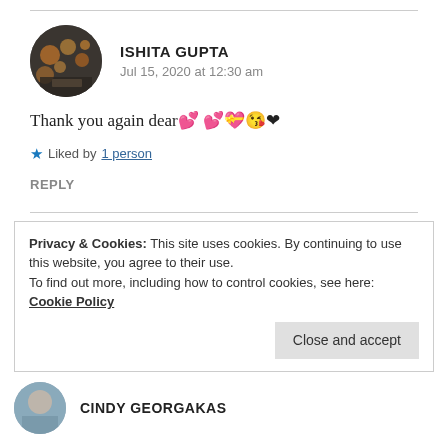[Figure (photo): Circular avatar photo of Ishita Gupta showing bokeh lights background]
ISHITA GUPTA
Jul 15, 2020 at 12:30 am
Thank you again dear💕💕💝😘❤
★ Liked by 1 person
REPLY
Privacy & Cookies: This site uses cookies. By continuing to use this website, you agree to their use.
To find out more, including how to control cookies, see here: Cookie Policy
Close and accept
[Figure (photo): Circular avatar photo of Cindy Georgakas]
CINDY GEORGAKAS